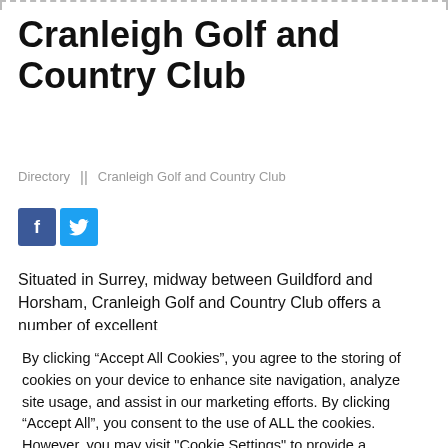Cranleigh Golf and Country Club
Directory  ||  Cranleigh Golf and Country Club
[Figure (other): Facebook and Twitter social media share buttons]
Situated in Surrey, midway between Guildford and Horsham, Cranleigh Golf and Country Club offers a number of excellent
By clicking “Accept All Cookies”, you agree to the storing of cookies on your device to enhance site navigation, analyze site usage, and assist in our marketing efforts. By clicking “Accept All”, you consent to the use of ALL the cookies. However, you may visit "Cookie Settings" to provide a controlled consent.
Cookie Settings  |  Accept All